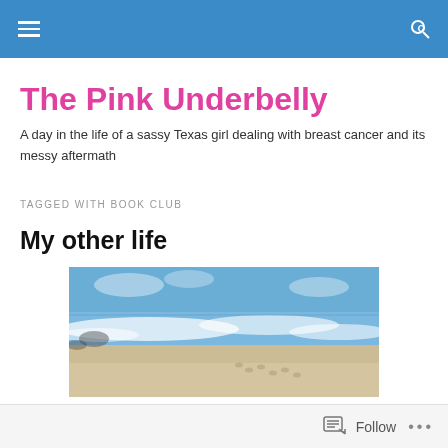The Pink Underbelly
A day in the life of a sassy Texas girl dealing with breast cancer and its messy aftermath
TAGGED WITH BOOK CLUB
My other life
[Figure (photo): A beach scene with ocean waves washing onto sandy shore with footprints.]
Follow ...